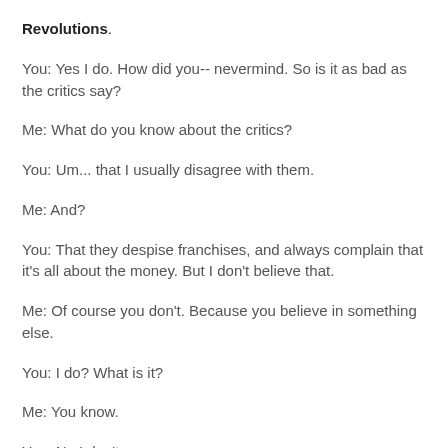Revolutions.
You: Yes I do. How did you-- nevermind. So is it as bad as the critics say?
Me: What do you know about the critics?
You: Um... that I usually disagree with them.
Me: And?
You: That they despise franchises, and always complain that it's all about the money. But I don't believe that.
Me: Of course you don't. Because you believe in something else.
You: I do? What is it?
Me: You know.
You: No I don't.